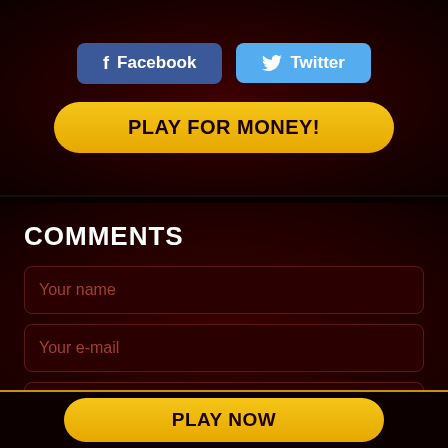[Figure (screenshot): Facebook share button with 'f' icon and 'Facebook' label on blue background]
[Figure (screenshot): Twitter share button with bird icon and 'Twitter' label on light blue background]
PLAY FOR MONEY!
COMMENTS
Your name
Your e-mail
Your comment
PLAY NOW